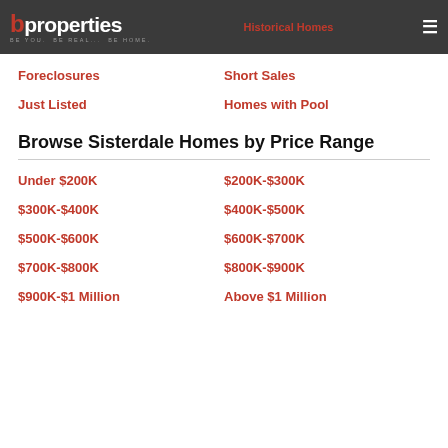b properties BE YOU. BE REAL... BE HOME. | Historical Homes | ≡
Foreclosures
Short Sales
Just Listed
Homes with Pool
Browse Sisterdale Homes by Price Range
Under $200K
$200K-$300K
$300K-$400K
$400K-$500K
$500K-$600K
$600K-$700K
$700K-$800K
$800K-$900K
$900K-$1 Million
Above $1 Million